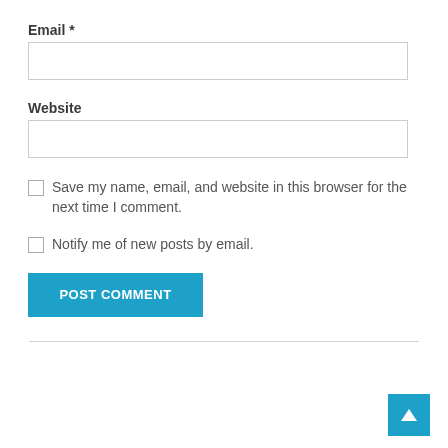Email *
[Figure (other): Empty text input box for Email field]
Website
[Figure (other): Empty text input box for Website field]
Save my name, email, and website in this browser for the next time I comment.
Notify me of new posts by email.
[Figure (other): POST COMMENT button (blue)]
[Figure (other): Horizontal divider line]
[Figure (other): Back to top button (blue square with white upward arrow)]